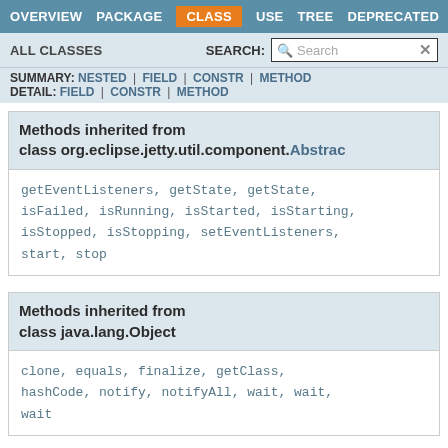OVERVIEW  PACKAGE  CLASS  USE  TREE  DEPRECATED
ALL CLASSES    SEARCH:  [Search]
SUMMARY: NESTED | FIELD | CONSTR | METHOD
DETAIL: FIELD | CONSTR | METHOD
Methods inherited from class org.eclipse.jetty.util.component.Abstrac
getEventListeners, getState, getState, isFailed, isRunning, isStarted, isStarting, isStopped, isStopping, setEventListeners, start, stop
Methods inherited from class java.lang.Object
clone, equals, finalize, getClass, hashCode, notify, notifyAll, wait, wait, wait